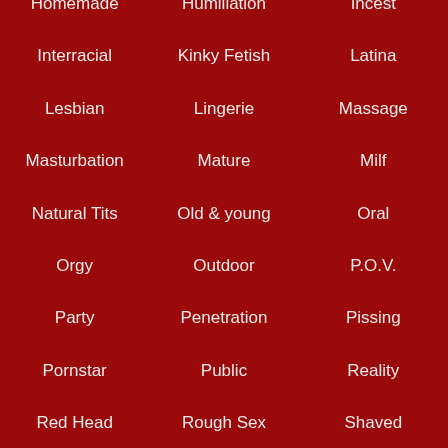Homemade
Humiliation
Incest
Interracial
Kinky Fetish
Latina
Lesbian
Lingerie
Massage
Masturbation
Mature
Milf
Natural Tits
Old & young
Oral
Orgy
Outdoor
P.O.V.
Party
Penetration
Pissing
Pornstar
Public
Reality
Red Head
Rough Sex
Shaved
Shemale
Small Tits
Solo
Squirting
Stockings
Strapon